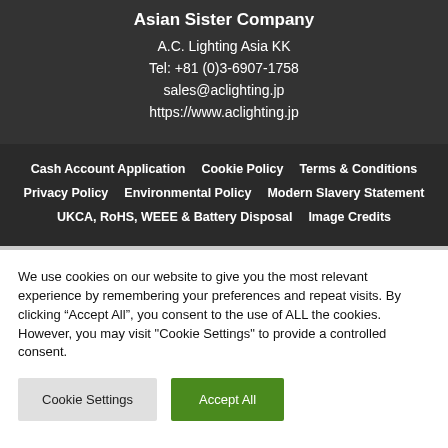Asian Sister Company
A.C. Lighting Asia KK
Tel: +81 (0)3-6907-1758
sales@aclighting.jp
https://www.aclighting.jp
Cash Account Application
Cookie Policy
Terms & Conditions
Privacy Policy
Environmental Policy
Modern Slavery Statement
UKCA, RoHS, WEEE & Battery Disposal
Image Credits
We use cookies on our website to give you the most relevant experience by remembering your preferences and repeat visits. By clicking “Accept All”, you consent to the use of ALL the cookies. However, you may visit "Cookie Settings" to provide a controlled consent.
Cookie Settings   Accept All